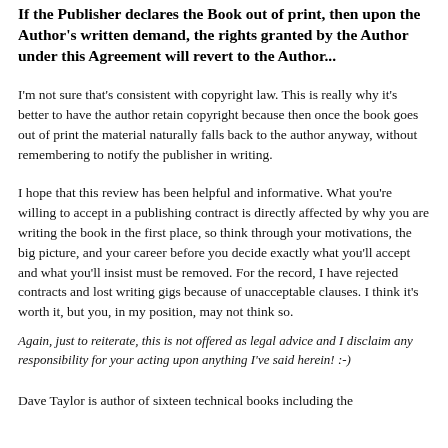If the Publisher declares the Book out of print, then upon the Author's written demand, the rights granted by the Author under this Agreement will revert to the Author...
I'm not sure that's consistent with copyright law. This is really why it's better to have the author retain copyright because then once the book goes out of print the material naturally falls back to the author anyway, without remembering to notify the publisher in writing.
I hope that this review has been helpful and informative. What you're willing to accept in a publishing contract is directly affected by why you are writing the book in the first place, so think through your motivations, the big picture, and your career before you decide exactly what you'll accept and what you'll insist must be removed. For the record, I have rejected contracts and lost writing gigs because of unacceptable clauses. I think it's worth it, but you, in my position, may not think so.
Again, just to reiterate, this is not offered as legal advice and I disclaim any responsibility for your acting upon anything I've said herein! :-)
Dave Taylor is author of sixteen technical books including the